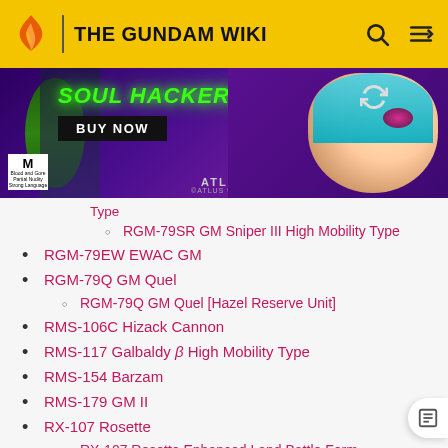THE GUNDAM WIKI
[Figure (screenshot): Soul Hackers 2 advertisement banner with Buy Now button, ATLUS branding, anime characters]
Type
RGM-79SR GM Sniper III High Mobility Type
RGM-79EW EWAC GM
RGM-79Q GM Quel
RGM-79Q GM Quel [Hazel Reserve Unit]
RMS-106C Hizack Cannon
RMS-117 Galbaldy β High Mobility Type
RMS-154 Barzam
RMS-179 GM II
RX-107 Rosette
RX-107 Rosette Enhanced Land Battle Form